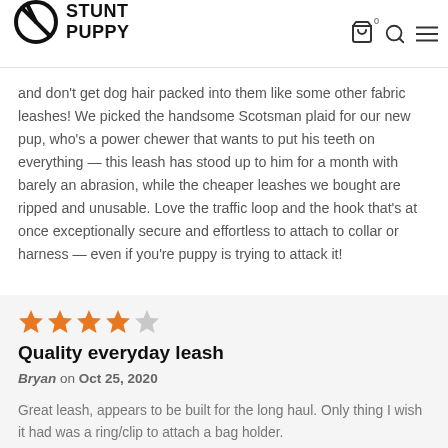Stunt Puppy
and don't get dog hair packed into them like some other fabric leashes! We picked the handsome Scotsman plaid for our new pup, who's a power chewer that wants to put his teeth on everything — this leash has stood up to him for a month with barely an abrasion, while the cheaper leashes we bought are ripped and unusable. Love the traffic loop and the hook that's at once exceptionally secure and effortless to attach to collar or harness — even if you're puppy is trying to attack it!
[Figure (other): 4 out of 5 stars rating (4 orange stars, 1 gray star)]
Quality everyday leash
Bryan on Oct 25, 2020
Great leash, appears to be built for the long haul. Only thing I wish it had was a ring/clip to attach a bag holder.